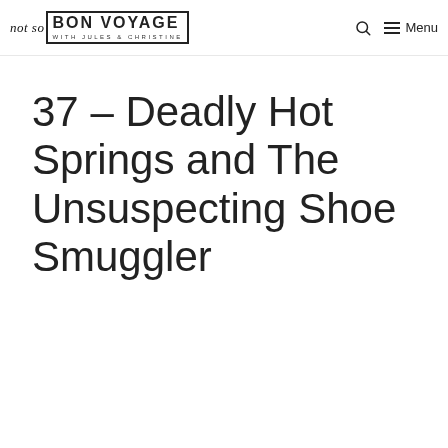not so BON VOYAGE with Jules & Christine — Search — Menu
37 – Deadly Hot Springs and The Unsuspecting Shoe Smuggler